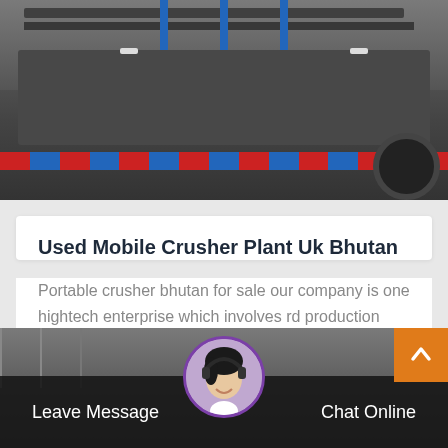[Figure (photo): Industrial mobile crusher plant machinery with red and blue striped safety markings and large wheels, mounted on a trailer]
Used Mobile Crusher Plant Uk Bhutan
Portable crusher bhutan for sale our company is one hightech enterprise which involves rd production sales and service as well in the past 3…
More Details
[Figure (photo): Bottom section showing industrial building background with customer service agent avatar, Leave Message and Chat Online buttons, and scroll-to-top orange arrow button]